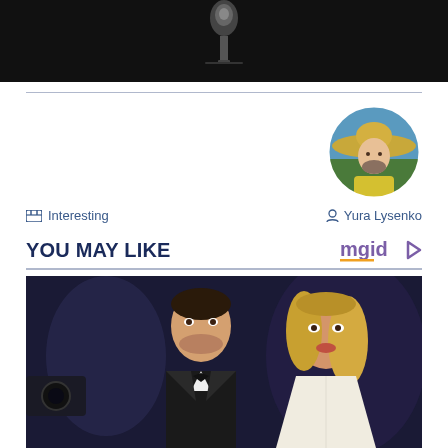[Figure (photo): Dark background with a microphone visible, top portion of a performance photo]
[Figure (photo): Circular avatar photo of Yura Lysenko wearing a large sombrero hat and yellow outfit]
Interesting
Yura Lysenko
YOU MAY LIKE
[Figure (logo): mgid logo with play button icon]
[Figure (photo): Photo of two celebrities (Ben Affleck and Jennifer Lopez) at a red carpet event, man in tuxedo with bow tie, woman in white gown]